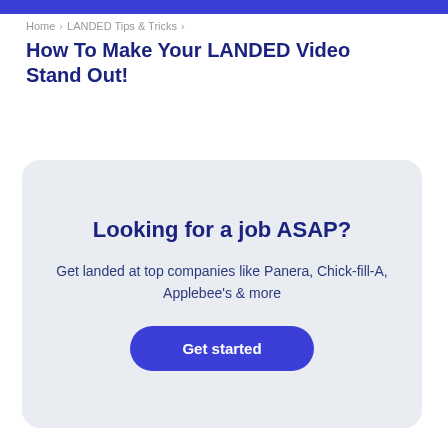Home > LANDED Tips & Tricks >
How To Make Your LANDED Video Stand Out!
Looking for a job ASAP?
Get landed at top companies like Panera, Chick-fill-A, Applebee's & more
Get started